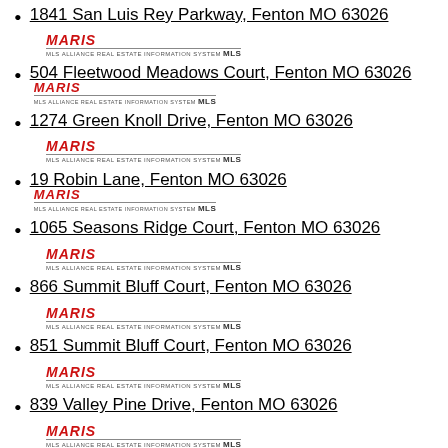1841 San Luis Rey Parkway, Fenton MO 63026 [MARIS MLS logo]
504 Fleetwood Meadows Court, Fenton MO 63026 [MARIS MLS logo]
1274 Green Knoll Drive, Fenton MO 63026 [MARIS MLS logo]
19 Robin Lane, Fenton MO 63026 [MARIS MLS logo]
1065 Seasons Ridge Court, Fenton MO 63026 [MARIS MLS logo]
866 Summit Bluff Court, Fenton MO 63026 [MARIS MLS logo]
851 Summit Bluff Court, Fenton MO 63026 [MARIS MLS logo]
839 Valley Pine Drive, Fenton MO 63026 [MARIS MLS logo]
859 Valley Pine Drive, Fenton MO 63026 [MARIS MLS logo]